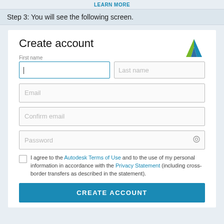LEARN MORE
Step 3: You will see the following screen.
[Figure (screenshot): Autodesk Create Account form screenshot showing fields for First name, Last name, Email, Confirm email, Password, a terms of use checkbox, and a CREATE ACCOUNT button, with the Autodesk logo in the top right.]